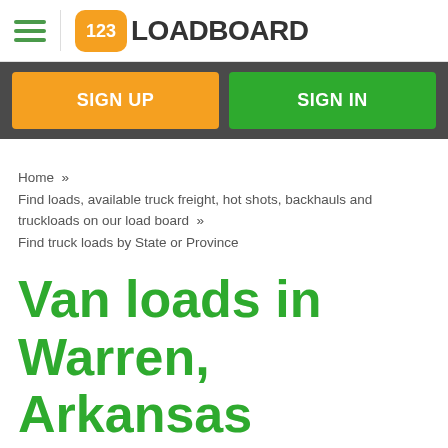123LOADBOARD
SIGN UP   SIGN IN
Home » Find loads, available truck freight, hot shots, backhauls and truckloads on our load board » Find truck loads by State or Province
Van loads in Warren, Arkansas